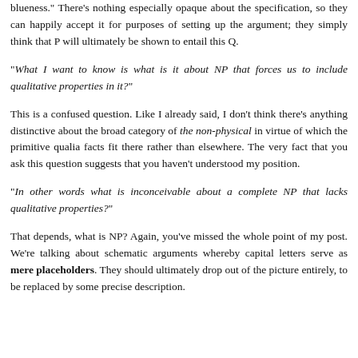blueness." There's nothing especially opaque about the specification, so they can happily accept it for purposes of setting up the argument; they simply think that P will ultimately be shown to entail this Q.
"What I want to know is what is it about NP that forces us to include qualitative properties in it?"
This is a confused question. Like I already said, I don't think there's anything distinctive about the broad category of the non-physical in virtue of which the primitive qualia facts fit there rather than elsewhere. The very fact that you ask this question suggests that you haven't understood my position.
"In other words what is inconceivable about a complete NP that lacks qualitative properties?"
That depends, what is NP? Again, you've missed the whole point of my post. We're talking about schematic arguments whereby capital letters serve as mere placeholders. They should ultimately drop out of the picture entirely, to be replaced by some precise description.